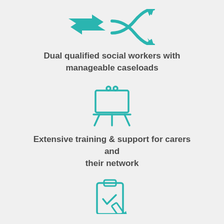[Figure (illustration): Teal shuffle/exchange arrows icon]
Dual qualified social workers with manageable caseloads
[Figure (illustration): Teal easel/presentation board icon]
Extensive training & support for carers and their network
[Figure (illustration): Teal clipboard with pencil/checkmark icon]